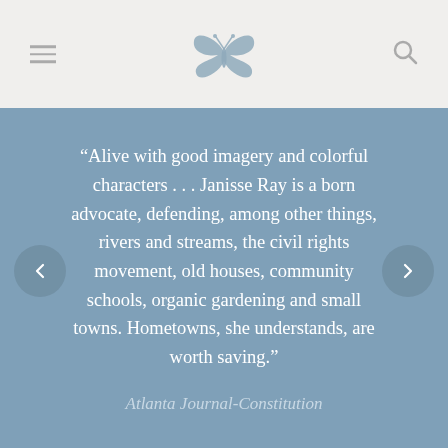Navigation header with butterfly logo, hamburger menu, and search icon
“Alive with good imagery and colorful characters . . . Janisse Ray is a born advocate, defending, among other things, rivers and streams, the civil rights movement, old houses, community schools, organic gardening and small towns. Hometowns, she understands, are worth saving.”
Atlanta Journal-Constitution